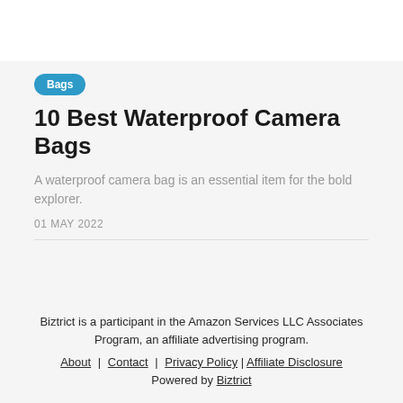[Figure (photo): White banner/image placeholder at the top of the page]
Bags
10 Best Waterproof Camera Bags
A waterproof camera bag is an essential item for the bold explorer.
01 MAY 2022
Biztrict is a participant in the Amazon Services LLC Associates Program, an affiliate advertising program. About | Contact | Privacy Policy | Affiliate Disclosure Powered by Biztrict